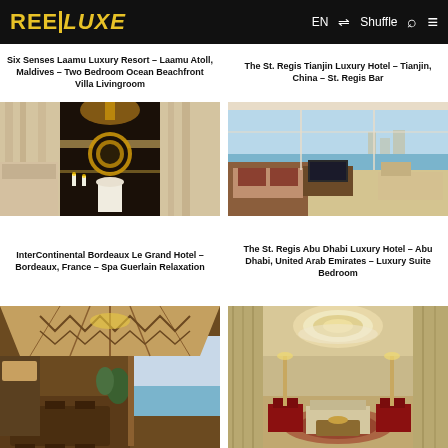REEJLUXE — EN Shuffle
Six Senses Laamu Luxury Resort – Laamu Atoll, Maldives – Two Bedroom Ocean Beachfront Villa Livingroom
The St. Regis Tianjin Luxury Hotel – Tianjin, China – St. Regis Bar
[Figure (photo): InterContinental Bordeaux Le Grand Hotel spa room with decorative circular artwork on dark tile wall, white pedestal sink, and draped curtains]
[Figure (photo): The St. Regis Abu Dhabi luxury suite bedroom with floor-to-ceiling windows overlooking the sea, brown headboard bed, TV console, and seating area]
InterContinental Bordeaux Le Grand Hotel – Bordeaux, France – Spa Guerlain Relaxation
The St. Regis Abu Dhabi Luxury Hotel – Abu Dhabi, United Arab Emirates – Luxury Suite Bedroom
[Figure (photo): Luxury villa living room with high vaulted ceiling, wooden chevron rafters, dining table and chairs, open to pool and ocean view]
[Figure (photo): Grand hotel lobby or lounge with circular ceiling detail, curtains, red and beige seating, ornate rug, and ambient lighting]